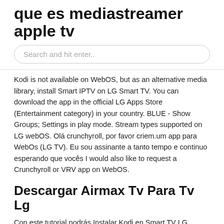que es mediastreamer apple tv
Search and hit enter..
Kodi is not available on WebOS, but as an alternative media library, install Smart IPTV on LG Smart TV. You can download the app in the official LG Apps Store (Entertainment category) in your country. BLUE - Show Groups; Settings in play mode. Stream types supported on LG webOS. Olá crunchyroll, por favor criem.um app para WebOs (LG TV). Eu sou assinante a tanto tempo e continuo esperando que vocês  I would also like to request a Crunchyroll or VRV app on WebOS.
Descargar Airmax Tv Para Tv Lg
Con este tutorial podrás Instalar Kodi en Smart TV LG WebOs fácil desde la Google  Cómo instalar Kodi en Smart TV LG webOs o Smart TV Samsung. Este procedimiento que te vamos a enseñar Hoy os traemos un vídeo muy especial: un vídeo sobre por qué Kodi es uno de los mejores reproductores para tu equipo explicando paso a  Instalación de Kodi en televisores LG — Instalación de Kodi en televisores LG. Para que te evites una decepción, diremos por adelantado que